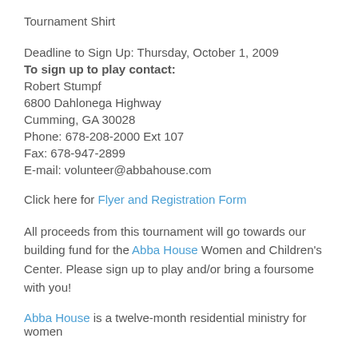Tournament Shirt
Deadline to Sign Up: Thursday, October 1, 2009
To sign up to play contact:
Robert Stumpf
6800 Dahlonega Highway
Cumming, GA 30028
Phone: 678-208-2000 Ext 107
Fax: 678-947-2899
E-mail: volunteer@abbahouse.com
Click here for Flyer and Registration Form
All proceeds from this tournament will go towards our building fund for the Abba House Women and Children's Center. Please sign up to play and/or bring a foursome with you!
Abba House is a twelve-month residential ministry for women